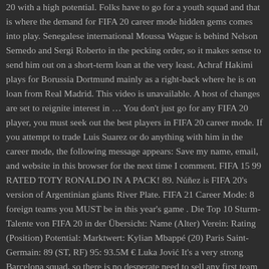20 with a high potential. Folks have to go for a youth squad and that is where the demand for FIFA 20 career mode hidden gems comes into play. Senegalese international Moussa Wague is behind Nelson Semedo and Sergi Roberto in the pecking order, so it makes sense to send him out on a short-term loan at the very least. Achraf Hakimi plays for Borussia Dortmund mainly as a right-back where he is on loan from Real Madrid. This video is unavailable. A host of changes are set to reignite interest in … You don't just go for any FIFA 20 player, you must seek out the best players in FIFA 20 career mode. If you attempt to trade Luis Suarez or do anything with him in the career mode, the following message appears: Save my name, email, and website in this browser for the next time I comment. FIFA 15 99 RATED TOTY RONALDO IN A PACK! 89. Núñez is FIFA 20's version of Argentinian giants River Plate. FIFA 21 Career Mode: 8 foreign teams you MUST be in this year's game . Die Top 10 Sturm-Talente von FIFA 20 in der Übersicht: Name (Alter) Verein: Rating (Position) Potential: Marktwert: Kylian Mbappé (20) Paris Saint-Germain: 89 (ST, RF) 95: 93.5M € Luka Jović It's a very strong Barcelona squad, so there is no desperate need to sell any first team players in your first transfer window. Have a question about how to better your squad? 0. pinned by moderators.